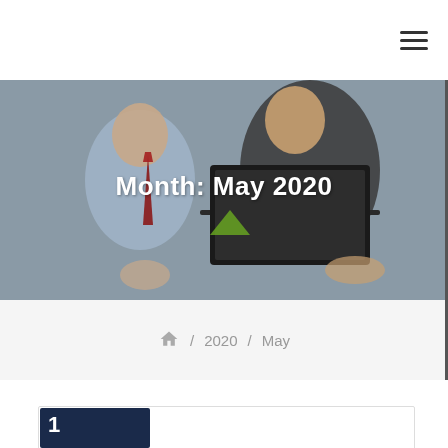Navigation menu (hamburger icon)
[Figure (photo): Hero banner photo showing two business people at a laptop computer, overlaid with the text 'Month: May 2020']
Month: May 2020
🏠 / 2020 / May
[Figure (photo): Partially visible article thumbnail with dark navy background and a number, at bottom of page]